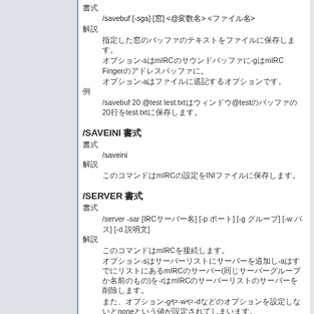書式
/savebuf [-sga] [窓] <@変数名> <ファイル名>
解説
指定した窓のバッファのテキストをファイルに保存します。オプション-sはmIRCのサウンドバッファに-gはmIRC FingerのIPアドレスバッファに。オプション-aはファイルに追記するオプションです。
例
/savebuf 20 @test test.txtはウィンドウ@testのバッファの20行をtest.txtに保存します。
/SAVEINI 書式
書式
/saveini
解説
このコマンドはmIRCの設定をINIファイルに保存します。
/SERVER 書式
書式
/server -sar [IRCサーバー名] [-p ポート] [-g グループ] [-w パス] [-d 説明文]
解説
このコマンドはmIRCを接続します。オプション-sはサーバーリストにサーバーを追加し-aはすでにリストにあるmIRCのサーバー(同じサーバーグループか名前のもの)を-rはmIRCのサーバーリストのサーバーを削除します。
また、オプション-gや-wや-dなどのオプションを設定しないとnoneという値が設定されてしまいます。